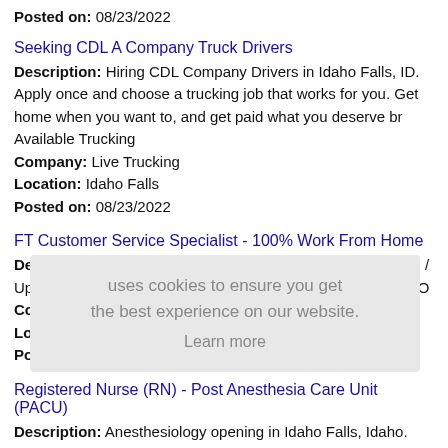Posted on: 08/23/2022
Seeking CDL A Company Truck Drivers
Description: Hiring CDL Company Drivers in Idaho Falls, ID. Apply once and choose a trucking job that works for you. Get home when you want to, and get paid what you deserve br Available Trucking
Company: Live Trucking
Location: Idaho Falls
Posted on: 08/23/2022
FT Customer Service Specialist - 100% Work From Home
Description: Customer Support / Remote - Anywhere in U.S. / Up to 45K per year / Benefits Medical-Vision-Dental-401k-PTO
Company: HomeLister
Location: Idaho Falls
Posted on: 08/23/2022
Registered Nurse (RN) - Post Anesthesia Care Unit (PACU)
Description: Anesthesiology opening in Idaho Falls, Idaho. This and other rn jobs brought to you by NursingJobCafe.com br br Adventure Awaits Accountable is leading the way in Travel Nursing - Run by Nurses for (more...)
Company: Accountable Healthcare Staffing